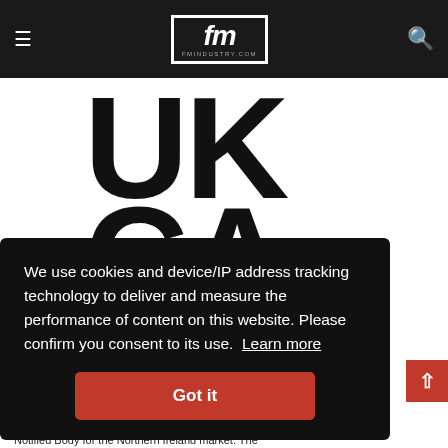fm fmindustry.com
[Figure (logo): UKCA conformity marking logo showing large bold letters 'UK' on top and 'CA' partially visible below, in black on white background]
We use cookies and device/IP address tracking technology to deliver and measure the performance of content on this website. Please confirm you consent to its use. Learn more
Got it
Brexit. The organisation will also continue to be a Notified Body for the Northern Ireland market. The